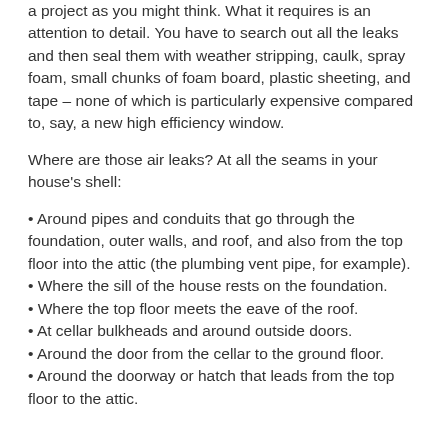a project as you might think. What it requires is an attention to detail. You have to search out all the leaks and then seal them with weather stripping, caulk, spray foam, small chunks of foam board, plastic sheeting, and tape – none of which is particularly expensive compared to, say, a new high efficiency window.
Where are those air leaks? At all the seams in your house's shell:
Around pipes and conduits that go through the foundation, outer walls, and roof, and also from the top floor into the attic (the plumbing vent pipe, for example).
Where the sill of the house rests on the foundation.
Where the top floor meets the eave of the roof.
At cellar bulkheads and around outside doors.
Around the door from the cellar to the ground floor.
Around the doorway or hatch that leads from the top floor to the attic.